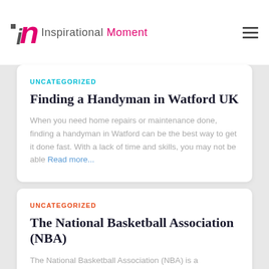Inspirational Moment
UNCATEGORIZED
Finding a Handyman in Watford UK
When you need home repairs or maintenance done, finding a handyman in Watford can be the best way to get it done fast. With a lack of time and skills, you may not be able Read more...
UNCATEGORIZED
The National Basketball Association (NBA)
The National Basketball Association (NBA) is a